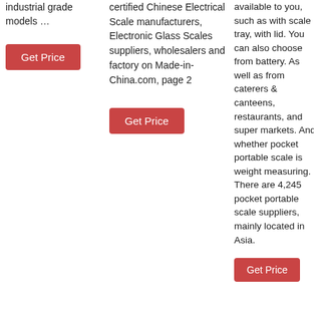industrial grade models …
Get Price
certified Chinese Electrical Scale manufacturers, Electronic Glass Scales suppliers, wholesalers and factory on Made-in-China.com, page 2
Get Price
available to you, such as with scale tray, with lid. You can also choose from battery. As well as from caterers & canteens, restaurants, and super markets. And whether pocket portable scale is weight measuring. There are 4,245 pocket portable scale suppliers, mainly located in Asia.
Get Price